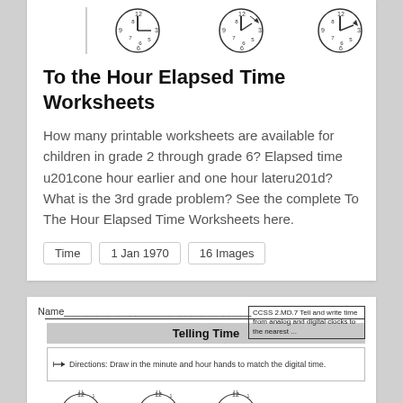[Figure (illustration): Three analog clocks showing different times, partially visible at top of card]
To the Hour Elapsed Time Worksheets
How many printable worksheets are available for children in grade 2 through grade 6? Elapsed time u201cone hour earlier and one hour lateru201d? What is the 3rd grade problem? See the complete To The Hour Elapsed Time Worksheets here.
Time
1 Jan 1970
16 Images
[Figure (illustration): Worksheet preview showing 'Telling Time' heading with directions and analog clock faces at bottom]